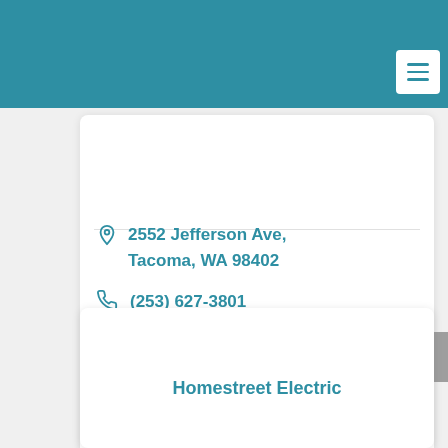2552 Jefferson Ave, Tacoma, WA 98402
(253) 627-3801
Homestreet Electric